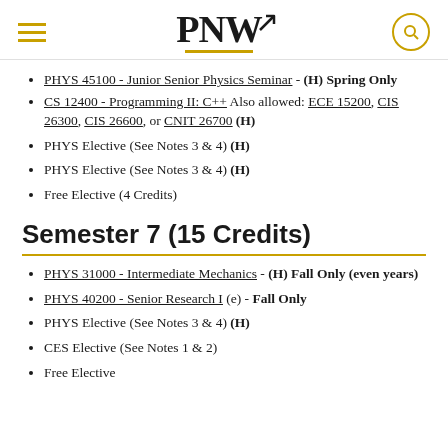PNW
PHYS 45100 - Junior Senior Physics Seminar - (H) Spring Only
CS 12400 - Programming II: C++ Also allowed: ECE 15200, CIS 26300, CIS 26600, or CNIT 26700 (H)
PHYS Elective (See Notes 3 & 4) (H)
PHYS Elective (See Notes 3 & 4) (H)
Free Elective (4 Credits)
Semester 7 (15 Credits)
PHYS 31000 - Intermediate Mechanics - (H) Fall Only (even years)
PHYS 40200 - Senior Research I (e) - Fall Only
PHYS Elective (See Notes 3 & 4) (H)
CES Elective (See Notes 1 & 2)
Free Elective